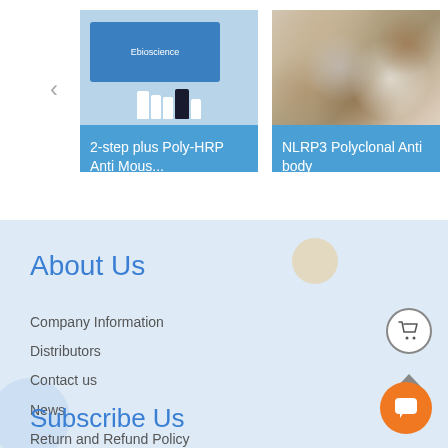[Figure (photo): Product image of 2-step plus Poly-HRP Anti Mouse kit with blue box and white bottles from Ebioscience]
2-step plus Poly-HRP Anti Mous...
[Figure (photo): Microscopy/histology image showing NLRP3 Polyclonal Antibody staining with brown and blue cells on tissue]
NLRP3 Polyclonal Anti body
About Us
Company Information
Distributors
Contact us
News
Return and Refund Policy
Subscribe Us